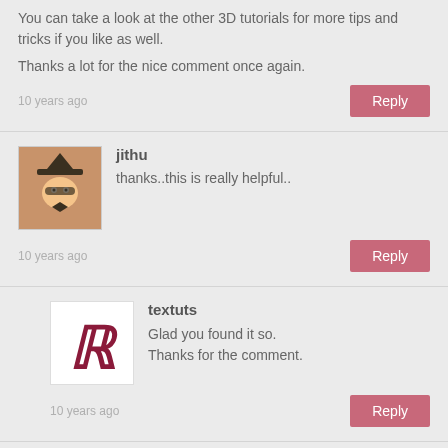You can take a look at the other 3D tutorials for more tips and tricks if you like as well.

Thanks a lot for the nice comment once again.
10 years ago
Reply
jithu
thanks..this is really helpful..
10 years ago
Reply
textuts
Glad you found it so.
Thanks for the comment.
10 years ago
Reply
VConcepcion
I CREATED THE CUBE BUT CANT SEEM TO MERGE IT TO